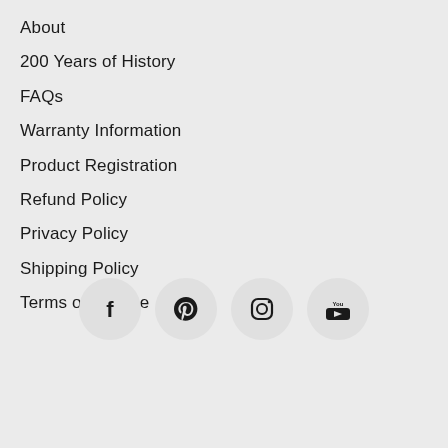About
200 Years of History
FAQs
Warranty Information
Product Registration
Refund Policy
Privacy Policy
Shipping Policy
Terms of Service
[Figure (infographic): Four social media icons in circular buttons: Facebook, Pinterest, Instagram, YouTube]